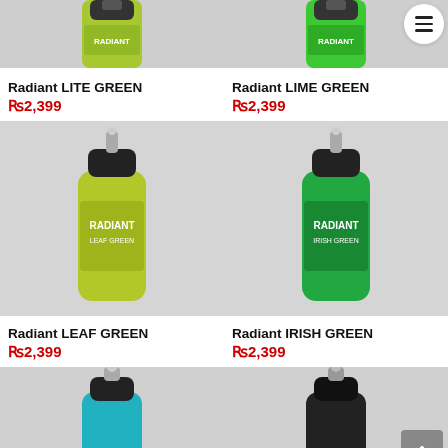[Figure (photo): Top portion of Radiant LITE GREEN tattoo ink bottle (yellow-green color), cropped]
[Figure (photo): Top portion of Radiant LIME GREEN tattoo ink bottle (bright green color), cropped]
Radiant LITE GREEN
₨2,399
Radiant LIME GREEN
₨2,399
[Figure (photo): Full Radiant LEAF GREEN tattoo ink bottle (yellow-green/olive color)]
[Figure (photo): Full Radiant IRISH GREEN tattoo ink bottle (bright green color)]
Radiant LEAF GREEN
₨2,399
Radiant IRISH GREEN
₨2,399
[Figure (photo): Top portion of a teal/turquoise Radiant tattoo ink bottle, cropped at bottom]
[Figure (photo): Top portion of a dark/black Radiant tattoo ink bottle, cropped at bottom]